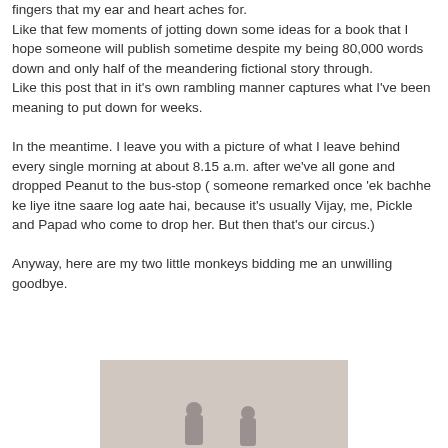fingers that my ear and heart aches for.
Like that few moments of jotting down some ideas for a book that I hope someone will publish sometime despite my being 80,000 words down and only half of the meandering fictional story through.
Like this post that in it's own rambling manner captures what I've been meaning to put down for weeks.

In the meantime. I leave you with a picture of what I leave behind every single morning at about 8.15 a.m. after we've all gone and dropped Peanut to the bus-stop ( someone remarked once 'ek bachhe ke liye itne saare log aate hai, because it's usually Vijay, me, Pickle and Papad who come to drop her. But then that's our circus.)

Anyway, here are my two little monkeys bidding me an unwilling goodbye.
[Figure (photo): A photo showing two children, partially visible at the bottom of the page.]